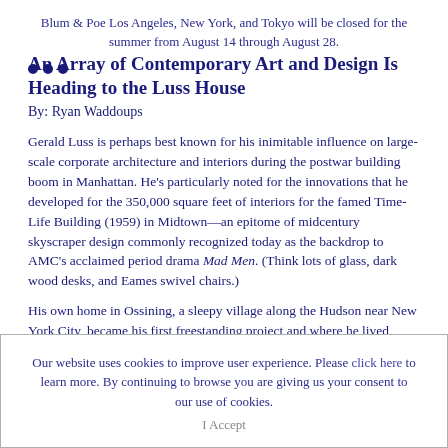Blum & Poe Los Angeles, New York, and Tokyo will be closed for the summer from August 14 through August 28.
An Array of Contemporary Art and Design Is Heading to the Luss House
By: Ryan Waddoups
Gerald Luss is perhaps best known for his inimitable influence on large-scale corporate architecture and interiors during the postwar building boom in Manhattan. He's particularly noted for the innovations that he developed for the 350,000 square feet of interiors for the famed Time-Life Building (1959) in Midtown—an epitome of midcentury skyscraper design commonly recognized today as the backdrop to AMC's acclaimed period drama Mad Men. (Think lots of glass, dark wood desks, and Eames swivel chairs.)
His own home in Ossining, a sleepy village along the Hudson near New York City, became his first freestanding project and where he lived while working on Time-Life. He built the house from prefabricated components assembled on a system of his own design, and it
Our website uses cookies to improve user experience. Please click here to learn more. By continuing to browse you are giving us your consent to our use of cookies.
I Accept